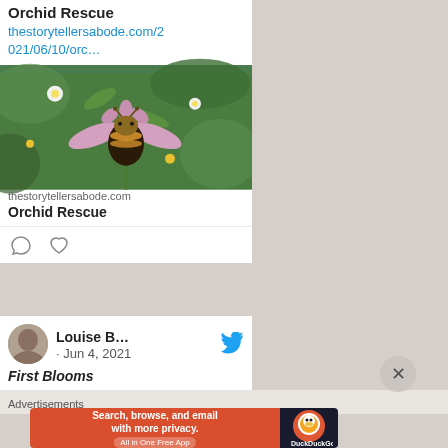Orchid Rescue
thestorytellersabode.com/2021/06/10/orc…
[Figure (photo): Close-up photo of a bee orchid flower with pink petals and a bumblebee-like center, surrounded by green foliage and small yellow flowers]
thestorytellersabode.com
Orchid Rescue
Louise B… · Jun 4, 2021
First Blooms
Advertisements
Search, browse, and email with more privacy.
All in One Free App